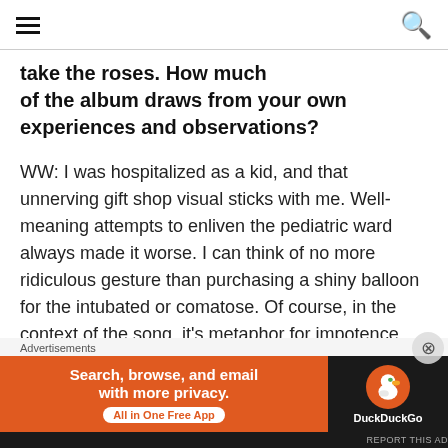[hamburger menu icon] [search icon]
take the roses. How much of the album draws from your own experiences and observations?
WW: I was hospitalized as a kid, and that unnerving gift shop visual sticks with me. Well-meaning attempts to enliven the pediatric ward always made it worse. I can think of no more ridiculous gesture than purchasing a shiny balloon for the intubated or comatose. Of course, in the context of the song, it's metaphor for impotence. And
Advertisements
[Figure (other): DuckDuckGo advertisement banner: orange background with text 'Search, browse, and email with more privacy. All in One Free App' and DuckDuckGo logo on dark background]